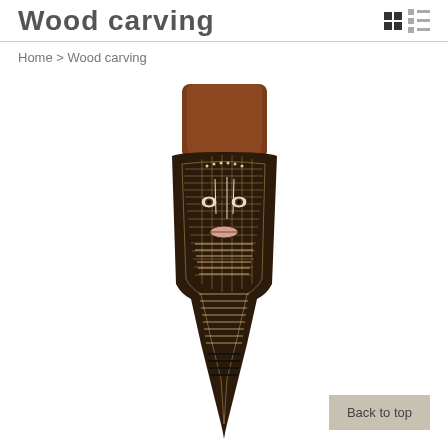Wood carving
Home > Wood carving
[Figure (photo): A tall wooden carved figure or totem with intricate cross-hatched patterns, a stylized face with eyes, and a brown rectangular top. The carving has white line details on a dark brown background.]
Back to top